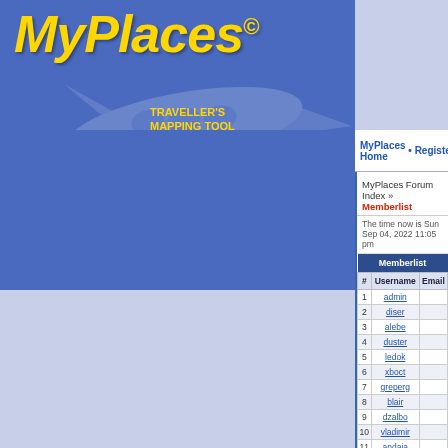[Figure (logo): MyPlaces logo with yellow italic text and copyright symbol, blue background with faint airplane graphic]
TRAVELLER'S MAPPING TOOL
MyPlaces Home • Register • Search •
MyPlaces Forum Index » Memberlist
The time now is Sun Sep 04, 2022 11:05 pm
| # | Username | Email |
| --- | --- | --- |
| 1 | admin |  |
| 2 | diser |  |
| 3 | alebe |  |
| 4 | duster |  |
| 5 | ledok |  |
| 6 | xboct |  |
| 7 | greperg |  |
| 8 | blair |  |
| 9 | dzalbo |  |
| 10 | vladimir |  |
| 11 | andaja |  |
| 12 | agandr |  |
| 13 | riko44 |  |
| 14 | mariabitter |  |